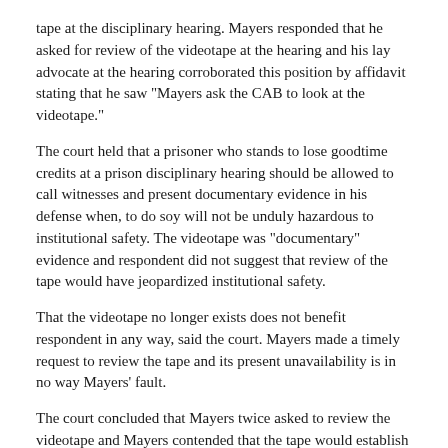tape at the disciplinary hearing. Mayers responded that he asked for review of the videotape at the hearing and his lay advocate at the hearing corroborated this position by affidavit stating that he saw "Mayers ask the CAB to look at the videotape."
The court held that a prisoner who stands to lose goodtime credits at a prison disciplinary hearing should be allowed to call witnesses and present documentary evidence in his defense when, to do soy will not be unduly hazardous to institutional safety. The videotape was "documentary" evidence and respondent did not suggest that review of the tape would have jeopardized institutional safety.
That the videotape no longer exists does not benefit respondent in any way, said the court. Mayers made a timely request to review the tape and its present unavailability is in no way Mayers' fault.
The court concluded that Mayers twice asked to review the videotape and Mayers contended that the tape would establish his innocence. The CAB's failure to view the tape or state that doing so would be hazardous violated 14th Amendment procedural due process protections. Accordingly, the court granted the relief requested in Mayers' petition and set aside the finding of guilt. Mayers v. Anderson, 93 F Supp 2d 962 (ND IN 2000).